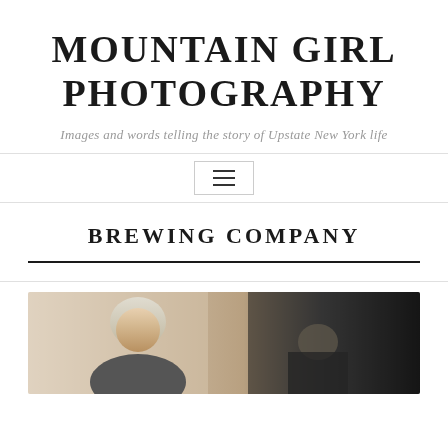MOUNTAIN GIRL PHOTOGRAPHY
Images and words telling the story of Upstate New York life
BREWING COMPANY
[Figure (photo): Partial view of two people at what appears to be an indoor event or brewery; one person has blonde/silver hair, background is dark]